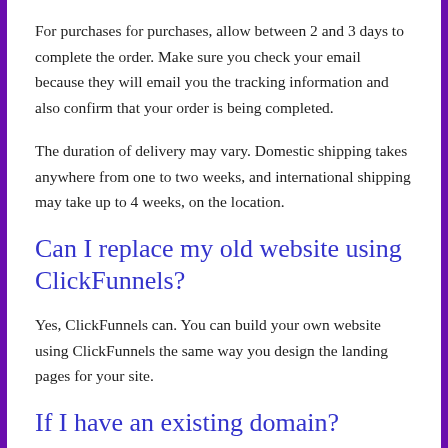For purchases for purchases, allow between 2 and 3 days to complete the order. Make sure you check your email because they will email you the tracking information and also confirm that your order is being completed.
The duration of delivery may vary. Domestic shipping takes anywhere from one to two weeks, and international shipping may take up to 4 weeks, on the location.
Can I replace my old website using ClickFunnels?
Yes, ClickFunnels can. You can build your own website using ClickFunnels the same way you design the landing pages for your site.
If I have an existing domain?